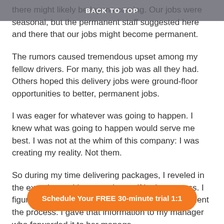BACK TO TOP
there might likely be layons coming. Our jobs were seasonal, but the permanent staff suggested here and there that our jobs might become permanent.
The rumors caused tremendous upset among my fellow drivers. For many, this job was all they had. Others hoped this delivery jobs were ground-floor opportunities to better, permanent jobs.
I was eager for whatever was going to happen. I knew what was going to happen would serve me best. I was not at the whim of this company: I was creating my reality. Not them.
So during my time delivering packages, I reveled in the experience. I immersed myself in the process. I figured out ways to improve and make more efficient the process. I gave that information to my manager who forwarded it to her manager. They asked me to write up formally what I had written. They gave me kudos for doing so.
Schedule Your FREE 30-minute trial 1:1